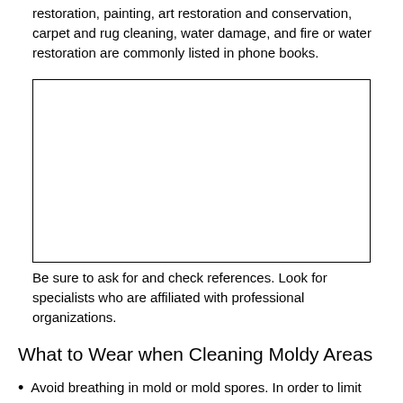restoration, painting, art restoration and conservation, carpet and rug cleaning, water damage, and fire or water restoration are commonly listed in phone books.
[Figure (photo): A blank/white rectangular image placeholder with a black border.]
Be sure to ask for and check references. Look for specialists who are affiliated with professional organizations.
What to Wear when Cleaning Moldy Areas
Avoid breathing in mold or mold spores. In order to limit